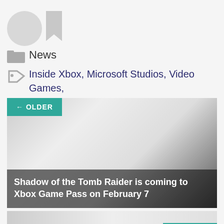[Figure (illustration): Partial view of folder and bookmark icons at top of page]
News
Inside Xbox, Microsoft Studios, Video Games, Xbox, Xbox Game Studios
[Figure (photo): Navigation card labeled OLDER with gradient image and title: Shadow of the Tomb Raider is coming to Xbox Game Pass on February 7]
[Figure (photo): Navigation card labeled NEWER with gradient image, partially visible at bottom]